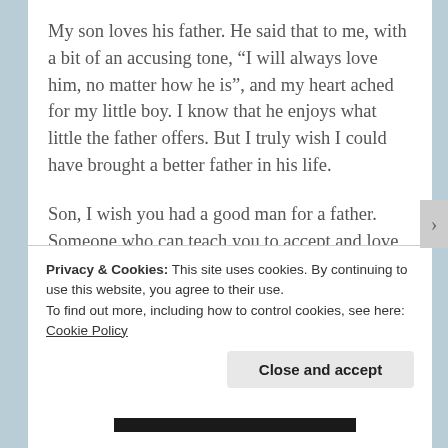My son loves his father. He said that to me, with a bit of an accusing tone, “I will always love him, no matter how he is”, and my heart ached for my little boy. I know that he enjoys what little the father offers. But I truly wish I could have brought a better father in his life.
Son, I wish you had a good man for a father. Someone who can teach you to accept and love people, the way they are, without judging them.
Privacy & Cookies: This site uses cookies. By continuing to use this website, you agree to their use.
To find out more, including how to control cookies, see here: Cookie Policy
Close and accept